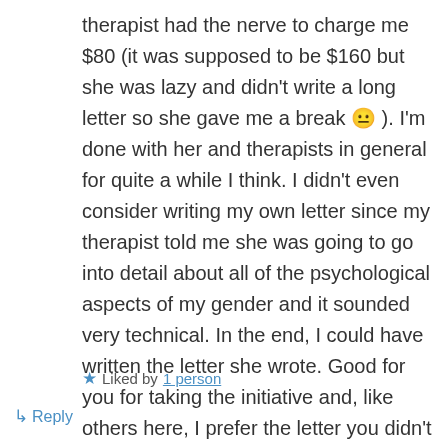therapist had the nerve to charge me $80 (it was supposed to be $160 but she was lazy and didn't write a long letter so she gave me a break 😐 ). I'm done with her and therapists in general for quite a while I think. I didn't even consider writing my own letter since my therapist told me she was going to go into detail about all of the psychological aspects of my gender and it sounded very technical. In the end, I could have written the letter she wrote. Good for you for taking the initiative and, like others here, I prefer the letter you didn't write. It's the one we should all give our surgeons.
★ Liked by 1 person
↳ Reply